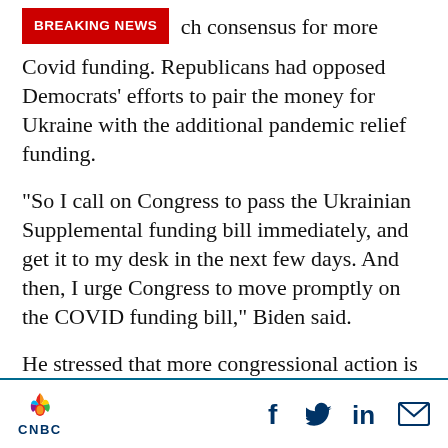ch consensus for more Covid funding. Republicans had opposed Democrats' efforts to pair the money for Ukraine with the additional pandemic relief funding.
“So I call on Congress to pass the Ukrainian Supplemental funding bill immediately, and get it to my desk in the next few days. And then, I urge Congress to move promptly on the COVID funding bill,” Biden said.
He stressed that more congressional action is required to address the pandemic.
[Figure (logo): CNBC logo with peacock graphic and social media icons (Facebook, Twitter, LinkedIn, Email)]